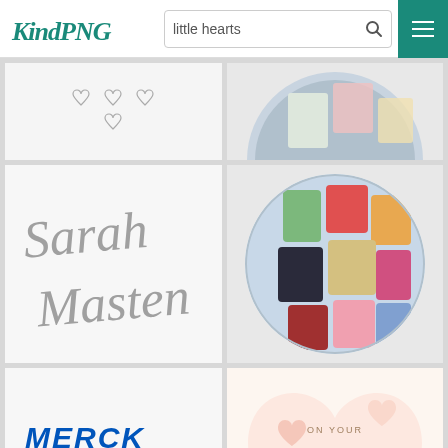[Figure (screenshot): KindPNG website header with logo, search bar with 'little hearts' query, and teal menu button]
[Figure (illustration): Small outline hearts illustration on light gray background]
[Figure (illustration): Partial circular image of health/food products]
[Figure (logo): Sarah Masten cursive signature logo in gray]
[Figure (photo): Circular photo of assorted snack/health food product boxes arranged on a plate]
[Figure (logo): Merck Family Foundation logo with blue text]
[Figure (illustration): Heart-shaped wedding balloon with 'ON YOUR Wedding DAY' text and pastel hearts pattern]